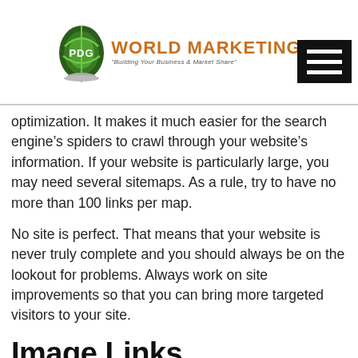[Figure (logo): PDG World Marketing logo with green egg globe icon and orange text]
optimization. It makes it much easier for the search engine’s spiders to crawl through your website’s information. If your website is particularly large, you may need several sitemaps. As a rule, try to have no more than 100 links per map.
No site is perfect. That means that your website is never truly complete and you should always be on the lookout for problems. Always work on site improvements so that you can bring more targeted visitors to your site.
Image Links
Image links are a rarity on websites that have undergone thorough search engine optimization. Image links do not link your content to the search